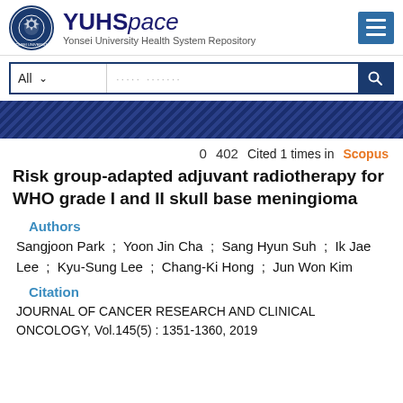YUHSpace - Yonsei University Health System Repository
0  402  Cited 1 times in Scopus
Risk group-adapted adjuvant radiotherapy for WHO grade I and II skull base meningioma
Authors
Sangjoon Park ; Yoon Jin Cha ; Sang Hyun Suh ; Ik Jae Lee ; Kyu-Sung Lee ; Chang-Ki Hong ; Jun Won Kim
Citation
JOURNAL OF CANCER RESEARCH AND CLINICAL ONCOLOGY, Vol.145(5) : 1351-1360, 2019